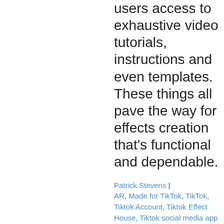users access to exhaustive video tutorials, instructions and even templates. These things all pave the way for effects creation that's functional and dependable.
Patrick Stevens | AR, Made for TikTok, TikTok, Tiktok Account, Tiktok Effect House, Tiktok social media app | 4 months ago |